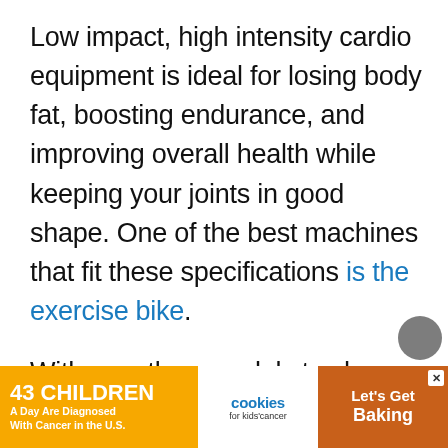Low impact, high intensity cardio equipment is ideal for losing body fat, boosting endurance, and improving overall health while keeping your joints in good shape. One of the best machines that fit these specifications is the exercise bike.
With countless models to choose from, the XTERRA Fitness FB150 Folding Exercise Bike holds strong in the top ranks due to its comfort, quality, versatility, and more. Don't go anywhere if you want to know
[Figure (infographic): Advertisement banner at the bottom: orange section '43 CHILDREN A Day Are Diagnosed With Cancer in the U.S.' with cookies for kids' cancer logo in center and 'Let's Get Baking' text on brown/orange right section. Close X button visible.]